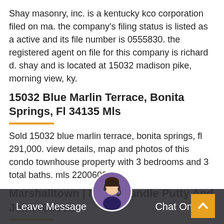Shay masonry, inc. is a kentucky kco corporation filed on ma. the company's filing status is listed as a active and its file number is 0555830. the registered agent on file for this company is richard d. shay and is located at 15032 madison pike, morning view, ky.
15032 Blue Marlin Terrace, Bonita Springs, Fl 34135 Mls
Sold 15032 blue marlin terrace, bonita springs, fl 291,000. view details, map and photos of this condo townhouse property with 3 bedrooms and 3 total baths. mls 220060093.
Marshalltown | Nylon Handle Putty And Joint Knives
The nylon handle putty and joint knives easily spread putty in applied areas or can be used as a crack cleaner.